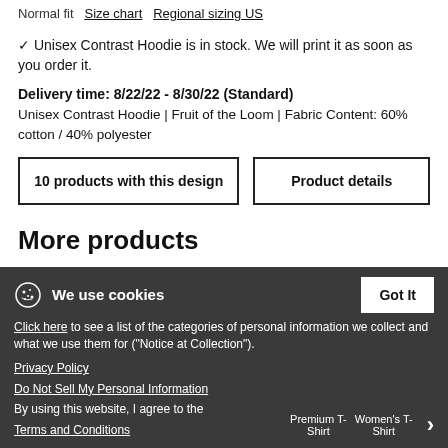Normal fit  Size chart  Regional sizing US
✓ Unisex Contrast Hoodie is in stock. We will print it as soon as you order it.
Delivery time: 8/22/22 - 8/30/22 (Standard)
Unisex Contrast Hoodie | Fruit of the Loom | Fabric Content: 60% cotton / 40% polyester
10 products with this design
Product details
More products
We use cookies
Click here to see a list of the categories of personal information we collect and what we use them for ("Notice at Collection").
Privacy Policy
Do Not Sell My Personal Information
By using this website, I agree to the Terms and Conditions
Premium T-
  Shirt
Women's T-Shirt